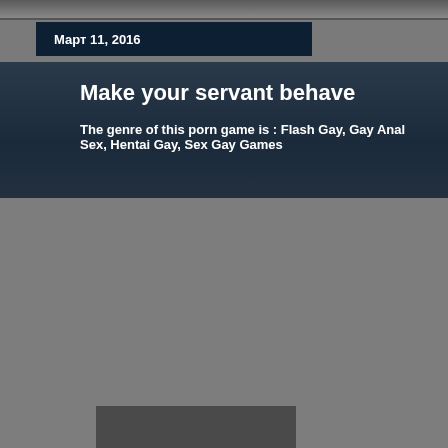Март 11, 2016
Make your servant behave
The genre of this porn game is : Flash Gay, Gay Anal Sex, Hentai Gay, Sex Gay Games
[Figure (photo): Dark gray image placeholder rectangle 1]
Pokemons fuck each other hard. This is a game for ad
[Figure (photo): Dark gray image placeholder rectangle 2]